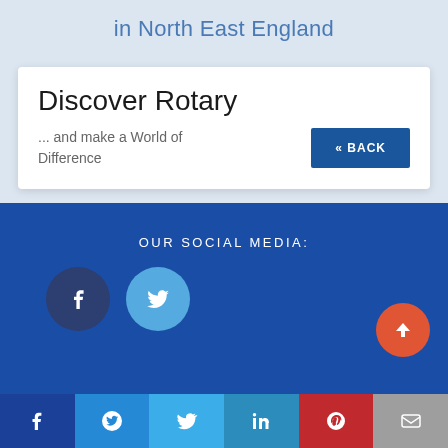in North East England
Discover Rotary
... and make a World of Difference
« BACK
OUR SOCIAL MEDIA:
[Figure (other): Facebook icon circle button, dark navy blue background]
[Figure (other): Twitter icon circle button, light blue background]
[Figure (other): Scroll-to-top button, red circle with up arrow]
f  [messenger]  [twitter]  in  P  [email]